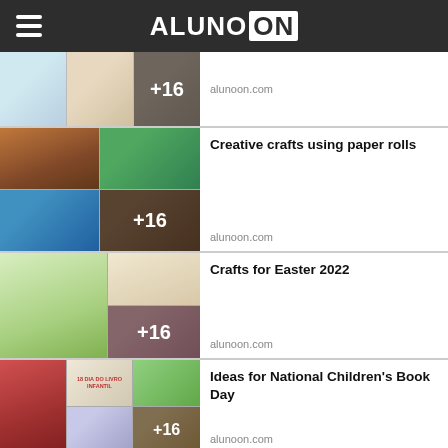ALUNO ON
[Figure (photo): Collage of 3 Easter craft images with +16 overlay]
alunoon.com
[Figure (photo): 2x2 grid of paper roll crafts — pirate, frog, castle, animal — with +16 overlay]
Creative crafts using paper rolls
alunoon.com
[Figure (photo): Easter crafts — bunny with carrot, drawing bunnies, colored paper roll bunnies — with +16 overlay]
Crafts for Easter 2022
alunoon.com
[Figure (photo): National Children's Book Day ideas — colorful bulletin boards, signs, illustrations — with +16 overlay]
Ideas for National Children's Book Day
alunoon.com